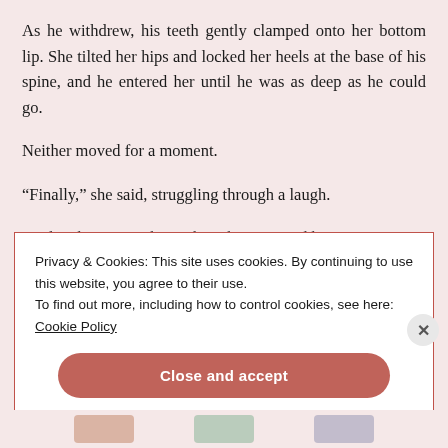As he withdrew, his teeth gently clamped onto her bottom lip. She tilted her hips and locked her heels at the base of his spine, and he entered her until he was as deep as he could go.
Neither moved for a moment.
“Finally,” she said, struggling through a laugh.
His laugh was cut short when she squeezed her
Privacy & Cookies: This site uses cookies. By continuing to use this website, you agree to their use.
To find out more, including how to control cookies, see here:
Cookie Policy
Close and accept